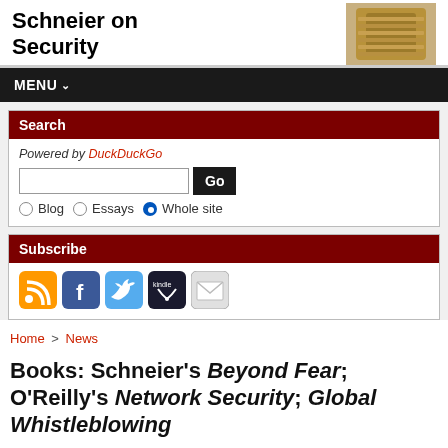Schneier on Security
[Figure (photo): Photograph of a combination padlock in the upper right of the site header]
MENU
Search
Powered by DuckDuckGo
[Figure (screenshot): Search input box with Go button and radio buttons for Blog, Essays, Whole site]
Subscribe
[Figure (infographic): Subscribe icons: RSS (orange), Facebook (blue), Twitter (light blue), Kindle (dark blue), Email (grey envelope)]
Home > News
Books: Schneier's Beyond Fear; O'Reilly's Network Security; Global Whistleblowing